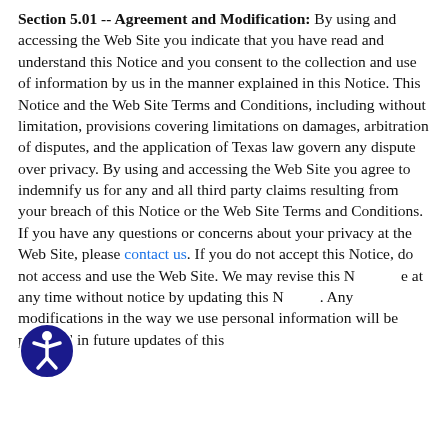Section 5.01 -- Agreement and Modification: By using and accessing the Web Site you indicate that you have read and understand this Notice and you consent to the collection and use of information by us in the manner explained in this Notice. This Notice and the Web Site Terms and Conditions, including without limitation, provisions covering limitations on damages, arbitration of disputes, and the application of Texas law govern any dispute over privacy. By using and accessing the Web Site you agree to indemnify us for any and all third party claims resulting from your breach of this Notice or the Web Site Terms and Conditions. If you have any questions or concerns about your privacy at the Web Site, please contact us. If you do not accept this Notice, do not access and use the Web Site. We may revise this Notice at any time without notice by updating this Notice. Any modifications in the way we use personal information will be provided in future updates of this Notice...